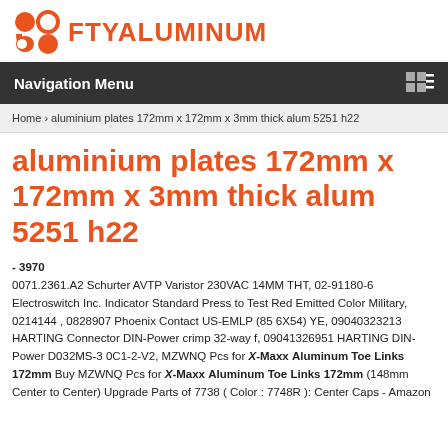[Figure (logo): FTYALUMINUM logo with orange/red circular icon shapes and orange text]
Navigation Menu
Home › aluminium plates 172mm x 172mm x 3mm thick alum 5251 h22
aluminium plates 172mm x 172mm x 3mm thick alum 5251 h22
- 3970
0071.2361.A2 Schurter AVTP Varistor 230VAC 14MM THT, 02-91180-6 Electroswitch Inc. Indicator Standard Press to Test Red Emitted Color Military, 0214144 , 0828907 Phoenix Contact US-EMLP (85 6X54) YE, 09040323213 HARTING Connector DIN-Power crimp 32-way f, 09041326951 HARTING DIN-Power D032MS-3 0C1-2-V2, MZWNQ Pcs for X-Maxx Aluminum Toe Links 172mm Buy MZWNQ Pcs for X-Maxx Aluminum Toe Links 172mm (148mm Center to Center) Upgrade Parts of 7738 ( Color : 7748R ): Center Caps - Amazon